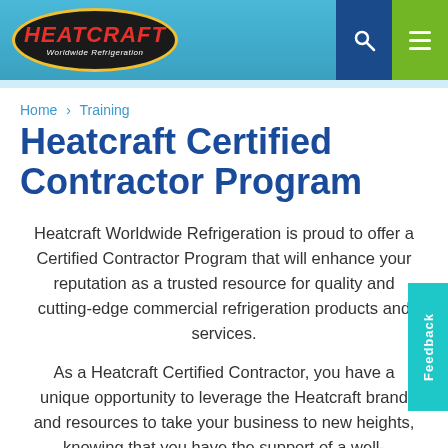[Figure (logo): Heatcraft Worldwide Refrigeration logo in black oval with yellow border, red italic text HEATCRAFT and white subtitle, alongside teal/blue navigation bar with search and menu icons]
Home > Training
Heatcraft Certified Contractor Program
Heatcraft Worldwide Refrigeration is proud to offer a Certified Contractor Program that will enhance your reputation as a trusted resource for quality and cutting-edge commercial refrigeration products and services.
As a Heatcraft Certified Contractor, you have a unique opportunity to leverage the Heatcraft brand and resources to take your business to new heights, knowing that you have the support of a well-established company with a long